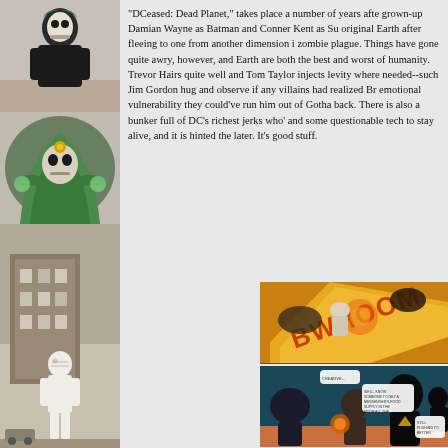[Figure (illustration): Left vertical strip of comic book artwork panels: top panel shows a dark skull-faced figure in black costume, middle panel shows a green-hooded skeletal figure with glowing hands and a yellow gem, bottom panel shows a bandaged white-suited figure standing on a city street in front of a building.]
"DCeased: Dead Planet," takes place a number of years afte grown-up Damian Wayne as Batman and Conner Kent as Su original Earth after fleeing to one from another dimension i zombie plague. Things have gone quite awry, however, and Earth are both the best and worst of humanity. Trevor Hairs quite well and Tom Taylor injects levity where needed--such Jim Gordon hug and observe if any villains had realized Br emotional vulnerability they could've run him out of Gotha back. There is also a bunker full of DC's richest jerks who' and some questionable tech to stay alive, and it is hinted the later. It's good stuff.
[Figure (illustration): Two comic book panels in the bottom right. Top panel: action scene with large orange/yellow explosion effect and 'BWHOOM' sound effect text, with dark silhouetted figures and an elderly character being launched. Bottom panel: dark scene with silhouetted characters including one with a triangle emblem, a central figure with glowing orange energy orb, speech bubbles with dialogue.]